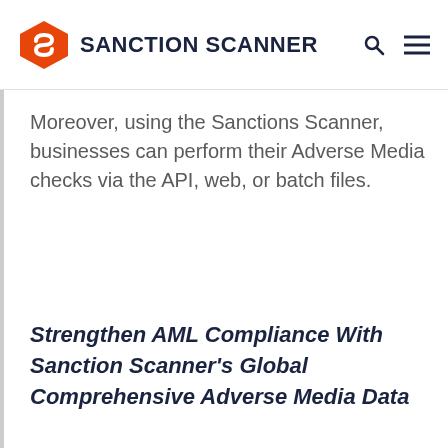SANCTION SCANNER
Moreover, using the Sanctions Scanner, businesses can perform their Adverse Media checks via the API, web, or batch files.
Strengthen AML Compliance With Sanction Scanner's Global Comprehensive Adverse Media Data